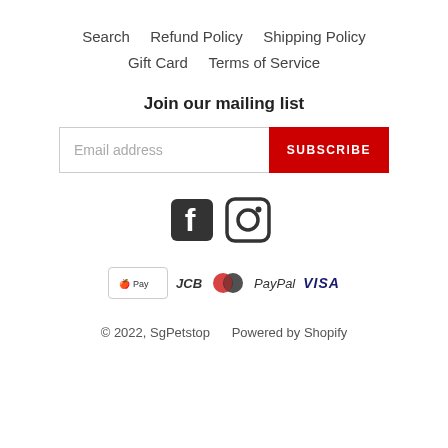Search   Refund Policy   Shipping Policy   Gift Card   Terms of Service
Join our mailing list
Email address  SUBSCRIBE
[Figure (other): Facebook and Instagram social media icons]
[Figure (other): Payment method icons: Apple Pay, JCB, Mastercard, PayPal, Visa]
© 2022, SgPetstop   Powered by Shopify